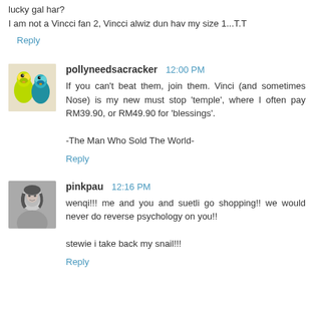lucky gal har?
I am not a Vincci fan 2, Vincci alwiz dun hav my size 1...T.T
Reply
pollyneedsacracker  12:00 PM
If you can't beat them, join them. Vinci (and sometimes Nose) is my new must stop 'temple', where I often pay RM39.90, or RM49.90 for 'blessings'.

-The Man Who Sold The World-
Reply
pinkpau  12:16 PM
wenqi!!! me and you and suetli go shopping!! we would never do reverse psychology on you!!

stewie i take back my snail!!!
Reply